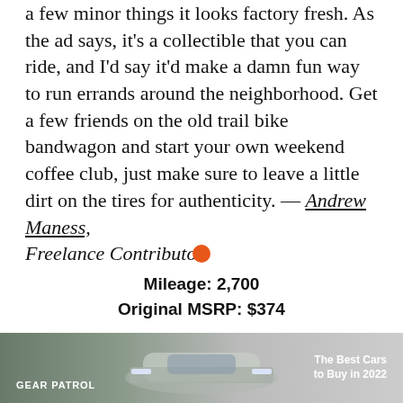a few minor things it looks factory fresh. As the ad says, it's a collectible that you can ride, and I'd say it'd make a damn fun way to run errands around the neighborhood. Get a few friends on the old trail bike bandwagon and start your own weekend coffee club, just make sure to leave a little dirt on the tires for authenticity. — Andrew Maness, Freelance Contributor
Mileage: 2,700
Original MSRP: $374
[Figure (other): Advertisement banner for Gear Patrol featuring a car with text 'The Best Cars to Buy in 2022']